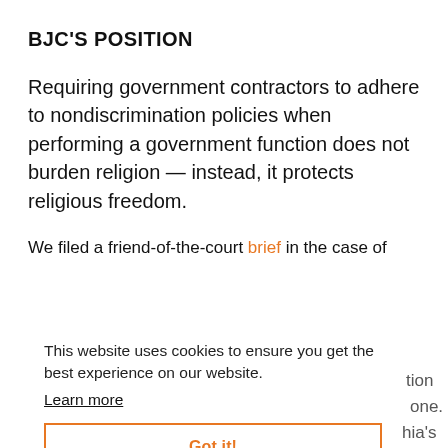BJC'S POSITION
Requiring government contractors to adhere to nondiscrimination policies when performing a government function does not burden religion — instead, it protects religious freedom.
We filed a friend-of-the-court brief in the case of Fulton v. Philadelphia because nondiscrimination policies protect religious freedom for everyone. This case involves a challenge to Philadelphia's rules for agencies that certify foster parents — the city says agencies must adhere to nondiscrimination law in this government-funded service. That means they can't reject prospective foster parents based on religion, sexual
This website uses cookies to ensure you get the best experience on our website.
Learn more
Got it!